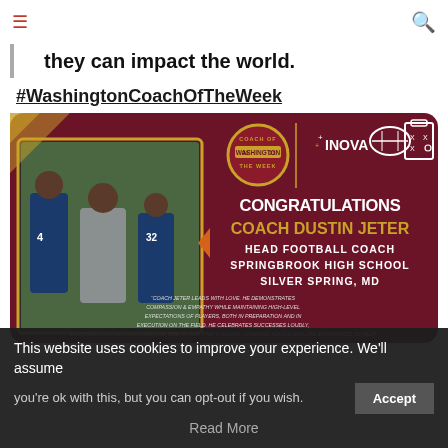≡  🔍
they can impact the world.
#WashingtonCoachOfTheWeek
[Figure (infographic): Washington Coach of the Week award card sponsored by Inova. Dark maroon background with gold 'Coach of the Week' badge logo and Inova logo at top. Left side shows photo of Coach Dustin Jeter with football players. Right side text: CONGRATULATIONS, COACH DUSTIN JETER (in gold), HEAD FOOTBALL COACH, SPRINGBROOK HIGH SCHOOL, SILVER SPRING, MD. Quote: 'Coach Jeter leads with love. He demonstrates compassion & empathy while maintaining high-level expectations of players, both in preparation and in execution on the field. He celebrates successes loudly, & ensures players also see the side of him that's human, offering advice and life experience to help them navigate their high school years.']
This website uses cookies to improve your experience. We'll assume you're ok with this, but you can opt-out if you wish.
Accept
Read More